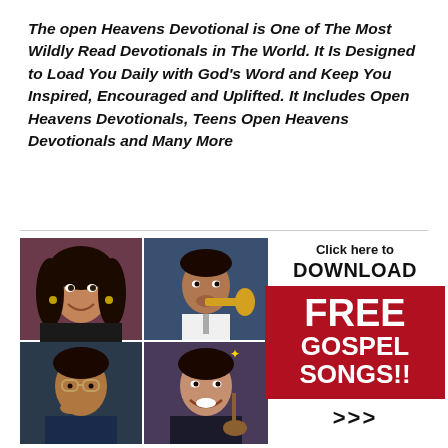The open Heavens Devotional is One of The Most Wildly Read Devotionals in The World. It Is Designed to Load You Daily with God's Word and Keep You Inspired, Encouraged and Uplifted. It Includes Open Heavens Devotionals, Teens Open Heavens Devotionals and Many More
[Figure (photo): A 2x2 grid of four gospel music artists: top-left a woman with long hair smiling, top-right a man playing trumpet, bottom-left a man with glasses in a suit, bottom-right a woman smiling with a guitar]
[Figure (infographic): Advertisement box: 'Click here to DOWNLOAD FREE GOSPEL SONGS!!' with red background and arrow symbols >>>]